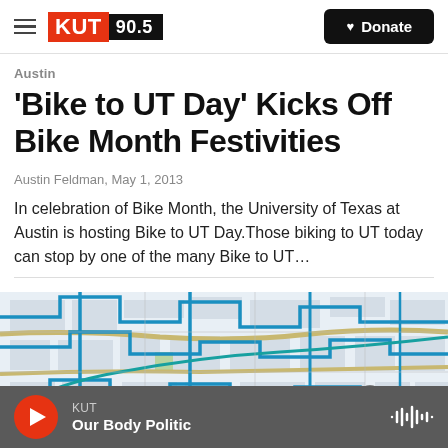KUT 90.5 | Donate
Austin
'Bike to UT Day' Kicks Off Bike Month Festivities
Austin Feldman,  May 1, 2013
In celebration of Bike Month, the University of Texas at Austin is hosting Bike to UT Day.Those biking to UT today can stop by one of the many Bike to UT…
[Figure (map): Street map of Austin showing bike routes highlighted in blue and teal]
KUT Our Body Politic